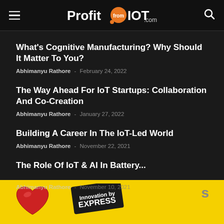ProfitfromIOT.com
What's Cognitive Manufacturing? Why Should It Matter To You?
Abhimanyu Rathore – February 24, 2022
The Way Ahead For IoT Startups: Collaboration And Co-Creation
Abhimanyu Rathore – January 27, 2022
Building A Career In The IoT-Led World
Abhimanyu Rathore – November 22, 2021
The Role Of IoT & AI In Battery...
Abhimanyu Rathore – November 10, 2021
[Figure (advertisement): Yellow advertisement banner with a red heart illustration and an Express newspaper logo badge]